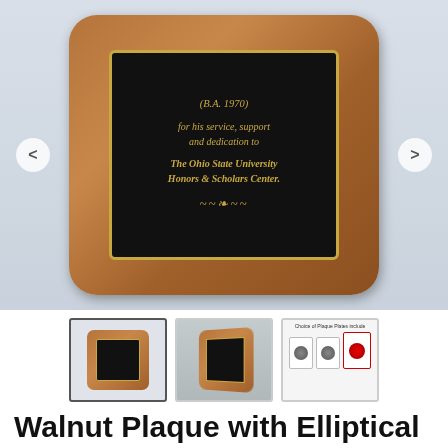[Figure (photo): Main product image showing a walnut wood plaque with elliptical edge and round corners, featuring a black plate with gold text reading '(B.A. 1970) for his service, support and dedication to The Ohio State University Honors & Scholars Center.' with decorative ornament, and left/right navigation arrows]
[Figure (photo): Three thumbnail images: first shows front view of walnut plaque (selected/active), second shows angled view of plaque on stand, third shows choices of plaque plates including seal and patriotic options]
Walnut Plaque with Elliptical Edge Round Corner